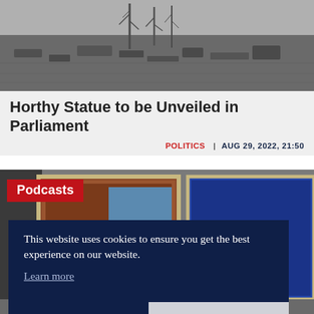[Figure (photo): Black and white photograph showing a desolate landscape with rubble and bare trees]
Horthy Statue to be Unveiled in Parliament
POLITICS | AUG 29, 2022, 21:50
[Figure (photo): Color photograph of framed artworks or posters displayed on a wall, with a red Podcasts label overlay]
This website uses cookies to ensure you get the best experience on our website. Learn more
Decline | Allow cookies